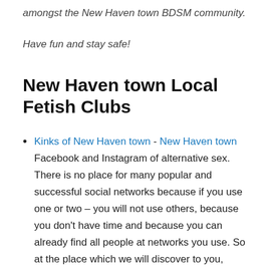amongst the New Haven town BDSM community.
Have fun and stay safe!
New Haven town Local Fetish Clubs
Kinks of New Haven town - New Haven town Facebook and Instagram of alternative sex. There is no place for many popular and successful social networks because if you use one or two – you will not use others, because you don't have time and because you can already find all people at networks you use. So at the place which we will discover to you,